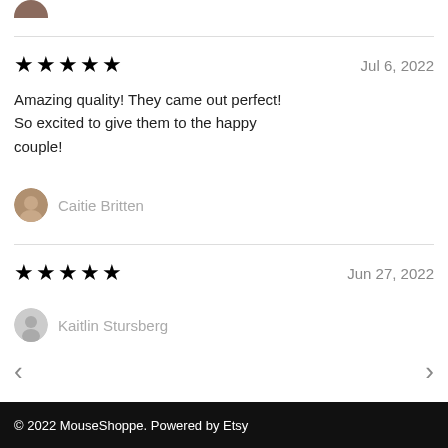[Figure (photo): Partial top avatar circle in brown/tan color, cropped at top]
★★★★★   Jul 6, 2022
Amazing quality! They came out perfect! So excited to give them to the happy couple!
Caitie Britten
★★★★★   Jun 27, 2022
Kaitlin Stursberg
© 2022 MouseShoppe. Powered by Etsy